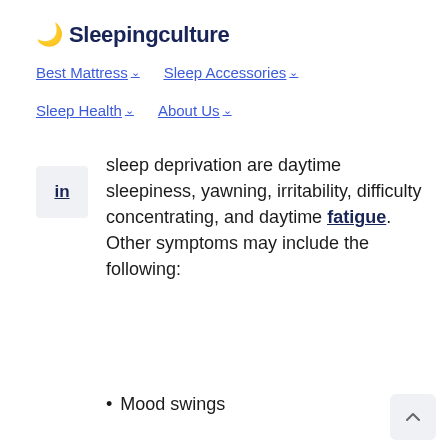🌙 Sleepingculture
Best Mattress ∨   Sleep Accessories ∨
Sleep Health ∨   About Us ∨
sleep deprivation are daytime sleepiness, yawning, irritability, difficulty concentrating, and daytime fatigue. Other symptoms may include the following:
Mood swings